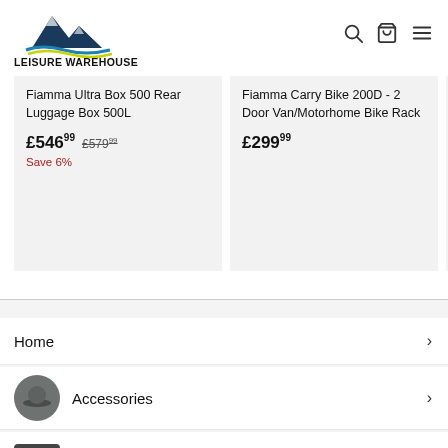[Figure (logo): Leisure Warehouse logo with mountain and wave graphic above bold text LEISURE WAREHOUSE]
Fiamma Ultra Box 500 Rear Luggage Box 500L
£546.99  £579.99  Save 6%
Fiamma Carry Bike 200D - 2 Door Van/Motorhome Bike Rack
£299.99
Fiamm Cara... Toilet
£4.99
Home
Accessories
Spares